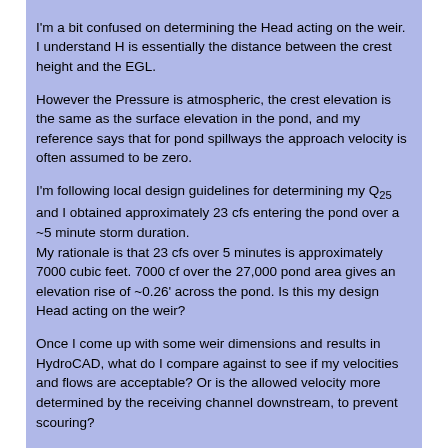I'm a bit confused on determining the Head acting on the weir. I understand H is essentially the distance between the crest height and the EGL.
However the Pressure is atmospheric, the crest elevation is the same as the surface elevation in the pond, and my reference says that for pond spillways the approach velocity is often assumed to be zero.

I'm following local design guidelines for determining my Q25 and I obtained approximately 23 cfs entering the pond over a ~5 minute storm duration.
My rationale is that 23 cfs over 5 minutes is approximately 7000 cubic feet. 7000 cf over the 27,000 pond area gives an elevation rise of ~0.26' across the pond. Is this my design Head acting on the weir?

Once I come up with some weir dimensions and results in HydroCAD, what do I compare against to see if my velocities and flows are acceptable? Or is the allowed velocity more determined by the receiving channel downstream, to prevent scouring?

Thanks in advance, I've tried to do my due diligence as this is my first project of this sort and wanted to check-in with you fine folks.
Replies continue below
Recommended for you